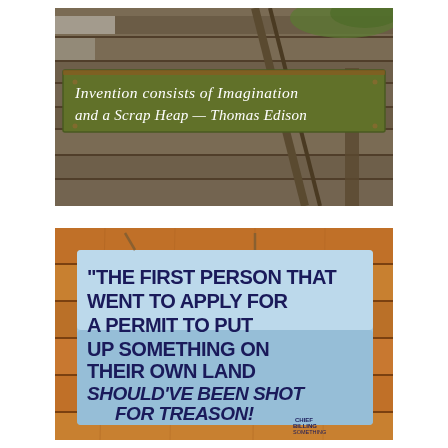[Figure (photo): Outdoor photo of a wooden sign mounted on a rustic wooden structure/fence. The sign reads: 'Invention consists of Imagination and a Scrap Heap — Thomas Edison' in white handwritten lettering on a weathered dark green/brown painted board.]
[Figure (photo): Photo of a painted wooden sign mounted on a wooden wall. The sign reads: 'THE FIRST PERSON THAT WENT TO APPLY FOR A PERMIT TO PUT UP SOMETHING ON THEIR OWN LAND SHOULD'VE BEEN SHOT FOR TREASON! — Chief Billing [something]' in dark blue/black bold lettering on a light blue/white background.]